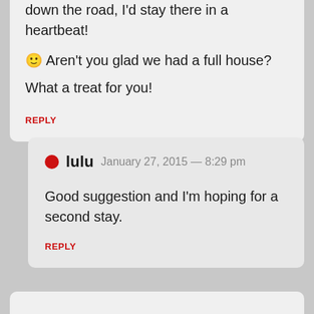down the road, I'd stay there in a heartbeat!
🙂 Aren't you glad we had a full house?
What a treat for you!
REPLY
lulu  January 27, 2015 — 8:29 pm
Good suggestion and I'm hoping for a second stay.
REPLY